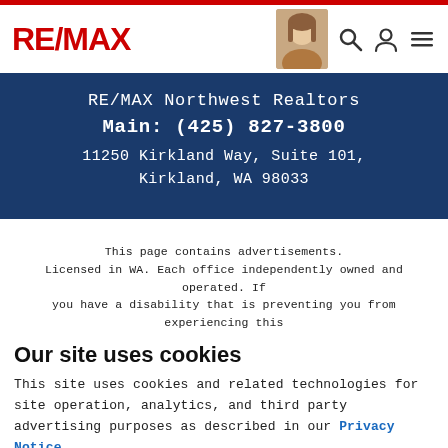RE/MAX
RE/MAX Northwest Realtors
Main: (425) 827-3800
11250 Kirkland Way, Suite 101,
Kirkland, WA 98033
This page contains advertisements. Licensed in WA. Each office independently owned and operated. If you have a disability that is preventing you from experiencing this
Our site uses cookies
This site uses cookies and related technologies for site operation, analytics, and third party advertising purposes as described in our Privacy Notice .
ACCEPT